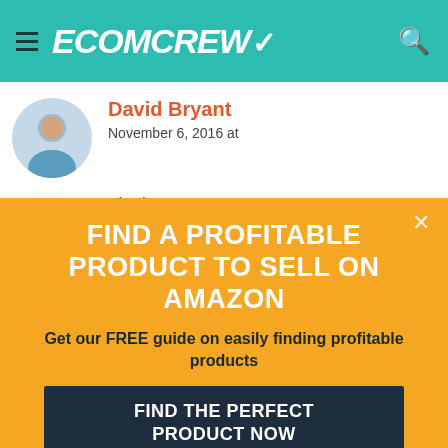ECOMCREW
David Bryant
November 6, 2016 at
Hi John,

No, Vancouver is normally home for me. IMO, I've known a few people trying to do go the route of helping
[Figure (infographic): Orange popup ad: FIND A PROFITABLE PRODUCT TO SELL ON AMAZON. Get our FREE guide on easily finding profitable products. Button: FIND THE PERFECT PRODUCT NOW]